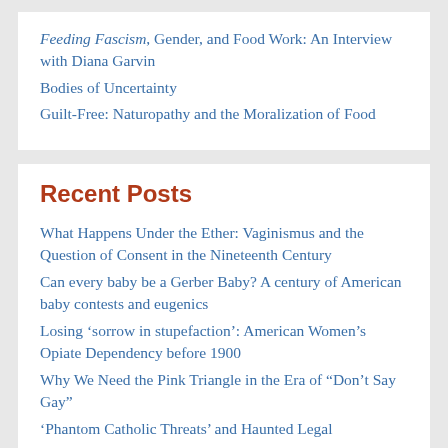Feeding Fascism, Gender, and Food Work: An Interview with Diana Garvin
Bodies of Uncertainty
Guilt-Free: Naturopathy and the Moralization of Food
Recent Posts
What Happens Under the Ether: Vaginismus and the Question of Consent in the Nineteenth Century
Can every baby be a Gerber Baby? A century of American baby contests and eugenics
Losing ‘sorrow in stupefaction’: American Women’s Opiate Dependency before 1900
Why We Need the Pink Triangle in the Era of “Don’t Say Gay”
‘Phantom Catholic Threats’ and Haunted Legal